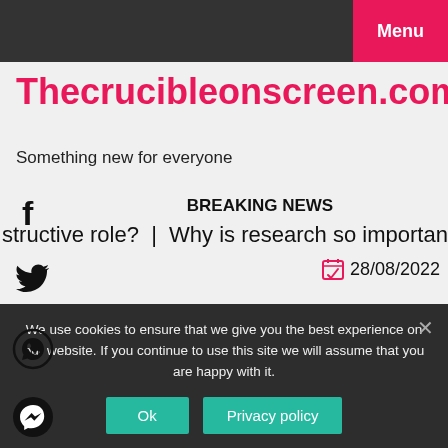Menu
Thecrucibleonscreen.com
Something new for everyone
BREAKING NEWS
structive role?  |  Why is research so important?  |  Did Achill
28/08/2022
We use cookies to ensure that we give you the best experience on our website. If you continue to use this site we will assume that you are happy with it.